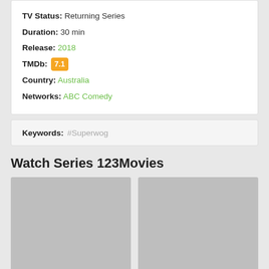TV Status: Returning Series
Duration: 30 min
Release: 2018
TMDb: 7.1
Country: Australia
Networks: ABC Comedy
Keywords: #Superwog
Watch Series 123Movies
[Figure (photo): Two gray placeholder thumbnail boxes side by side]